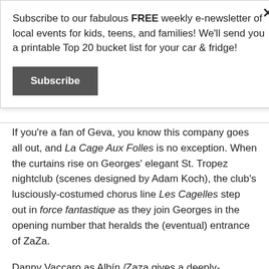Subscribe to our fabulous FREE weekly e-newsletter of local events for kids, teens, and families! We'll send you a printable Top 20 bucket list for your car & fridge!
Subscribe
If you're a fan of Geva, you know this company goes all out, and La Cage Aux Folles is no exception. When the curtains rise on Georges' elegant St. Tropez nightclub (scenes designed by Adam Koch), the club's lusciously-costumed chorus line Les Cagelles step out in force fantastique as they join Georges in the opening number that heralds the (eventual) entrance of ZaZa.
Danny Vaccaro as Albín /Zaza gives a deeply-nuanced performance, showing richly-textured emotion. In one vibrant character, Vacarro morphs from aging drag Queen who fears spousal infidelity, to dynamic, larger-than-life onstage performer, and from fiercely loyal, loving spouse and mother, to the embodiment of LGBTQ Pride. However, the story does not stop at one memorable character…